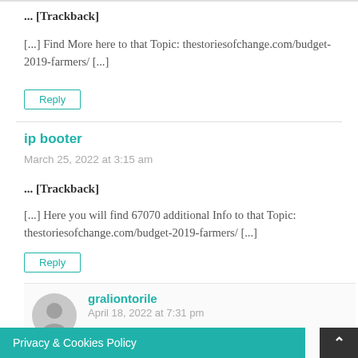... [Trackback]
[...] Find More here to that Topic: thestoriesofchange.com/budget-2019-farmers/ [...]
Reply
ip booter
March 25, 2022 at 3:15 am
... [Trackback]
[...] Here you will find 67070 additional Info to that Topic: thestoriesofchange.com/budget-2019-farmers/ [...]
Reply
graliontorile
April 18, 2022 at 7:31 pm
Can I simply say what a relief to find one who really is aware of wha... in the
Privacy & Cookies Policy